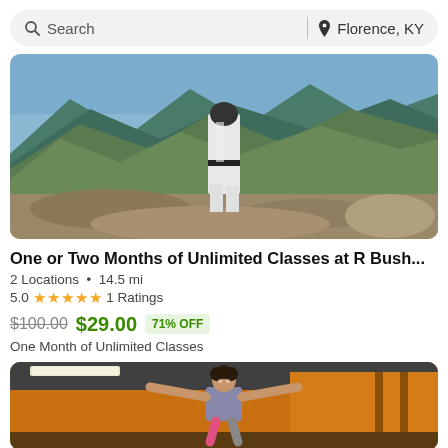Search | Florence, KY
[Figure (photo): Person in white martial arts uniform standing on rocky mountain summit with green mountain range in background]
One or Two Months of Unlimited Classes at R Bush...
2 Locations • 14.5 mi
5.0 ★★★★★ 1 Ratings
$100.00 $29.00 71% OFF
One Month of Unlimited Classes
[Figure (photo): Person jumping on trampoline with arms outstretched, indoor trampoline park with orange walls]